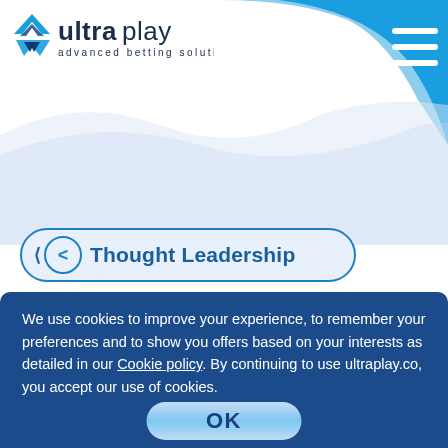[Figure (logo): UltraPlay logo with text 'ultraplay advanced betting solutions' and a stylized blue W icon]
[Figure (other): Blue curved decorative shape in the top-right corner of the header, with a hamburger menu icon (three white horizontal lines)]
[Figure (other): Light blue decorative wave/curve below header area]
< Thought Leadership
We use cookies to improve your experience, to remember your preferences and to show you offers based on your interests as detailed in our Cookie policy. By continuing to use ultraplay.co, you accept our use of cookies.
OK